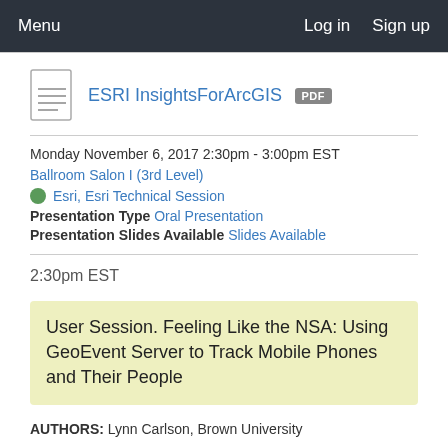Menu   Log in   Sign up
ESRI InsightsForArcGIS PDF
Monday November 6, 2017 2:30pm - 3:00pm EST
Ballroom Salon I (3rd Level)
Esri, Esri Technical Session
Presentation Type Oral Presentation
Presentation Slides Available Slides Available
2:30pm EST
User Session. Feeling Like the NSA: Using GeoEvent Server to Track Mobile Phones and Their People
AUTHORS: Lynn Carlson, Brown University